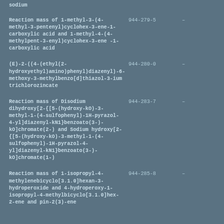sodium
Reaction mass of 1-methyl-3-(4-methyl-3-pentenyl)cyclohex-3-ene-1-carboxylic acid and 1-methyl-4-(4-methylpent-3-enyl)cyclohex-3-ene-1-carboxylic acid | 944-279-5 | -
(E)-2-((4-(ethyl(2-hydroxyethyl)amino)phenyl)diazenyl)-6-methoxy-3-methylbenzo[d]thiazol-3-ium trichlorozincate | 944-280-0 | -
Reaction mass of Disodium dihydroxy[2-{[5-(hydroxy-kO)-3-methyl-1-(4-sulfophenyl)-1H-pyrazol-4-yl]diazenyl-kN1}benzoato(3-)-kO]chromate(2-) and Sodium hydroxy[2-{[5-(hydroxy-kO)-3-methyl-1-(4-sulfophenyl)-1H-pyrazol-4-yl]diazenyl-kN1}benzoato(3-)-kO]chromate(1-) | 944-283-7 | -
Reaction mass of 1-isopropyl-4-methylenebicyclo[3.1.0]hexan-3-hydroperoxide and 4-hydroperoxy-1-isopropyl-4-methylbicyclo[3.1.0]hex-2-ene and pin-2(3)-ene | 944-285-8 | -